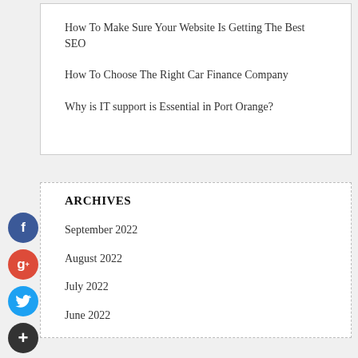How To Make Sure Your Website Is Getting The Best SEO
How To Choose The Right Car Finance Company
Why is IT support is Essential in Port Orange?
ARCHIVES
September 2022
August 2022
July 2022
June 2022